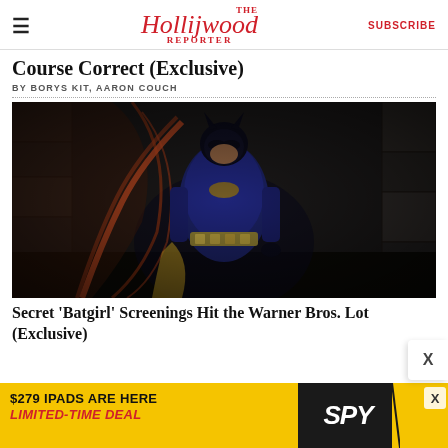The Hollywood Reporter — SUBSCRIBE
Course Correct (Exclusive)
BY BORYS KIT, AARON COUCH
[Figure (photo): Actress in Batgirl superhero costume — blue leather suit, bat emblem on chest, orange/red cape, dark mask — standing in a gothic stone corridor setting.]
Secret 'Batgirl' Screenings Hit the Warner Bros. Lot (Exclusive)
[Figure (infographic): Advertisement banner: '$279 IPADS ARE HERE LIMITED-TIME DEAL' with SPY logo on dark background, yellow background, X close button.]